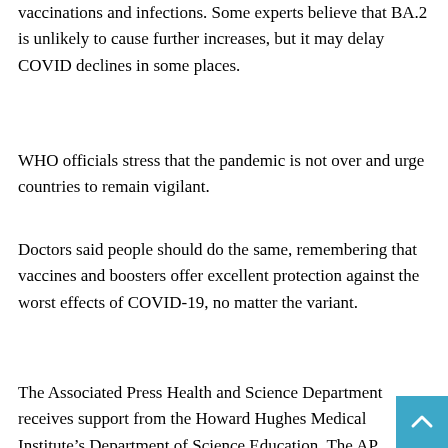vaccinations and infections. Some experts believe that BA.2 is unlikely to cause further increases, but it may delay COVID declines in some places.
WHO officials stress that the pandemic is not over and urge countries to remain vigilant.
Doctors said people should do the same, remembering that vaccines and boosters offer excellent protection against the worst effects of COVID-19, no matter the variant.
“For the people who are not driven, please feel driven. For people who aren’t vaccinated, it’s never too late,” Long said. “Your best defense against COVID is still the vaccine.”
The Associated Press Health and Science Department receives support from the Howard Hughes Medical Institute’s Department of Science Education. The AP is solely